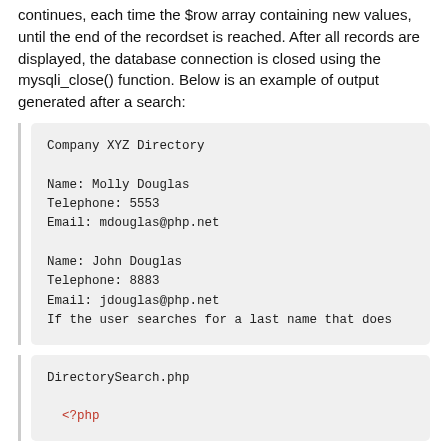continues, each time the $row array containing new values, until the end of the recordset is reached. After all records are displayed, the database connection is closed using the mysqli_close() function. Below is an example of output generated after a search:
[Figure (screenshot): Sample output box showing Company XYZ Directory with two entries: Molly Douglas (Telephone: 5553, Email: mdouglas@php.net) and John Douglas (Telephone: 8883, Email: jdouglas@php.net), and a partial line 'If the user searches for a last name that does']
[Figure (screenshot): Code box showing filename DirectorySearch.php and the beginning of a PHP file with <?php tag in red]